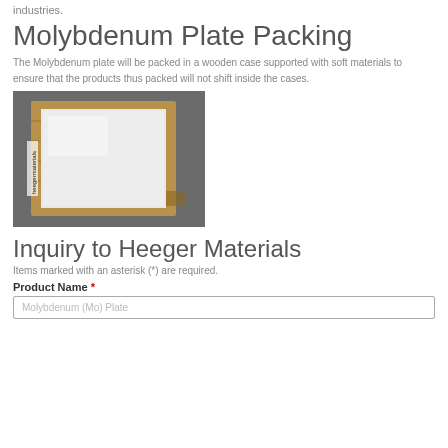industries.
Molybdenum Plate Packing
The Molybdenum plate will be packed in a wooden case supported with soft materials to ensure that the products thus packed will not shift inside the cases.
[Figure (photo): Photo of a molybdenum plate packed in a wooden case, placed on a gray surface. A small watermark/label reading 'heegermaterials' is visible on the left side.]
Inquiry to Heeger Materials
Items marked with an asterisk (*) are required.
Product Name *
Molybdenum (Mo) Plate